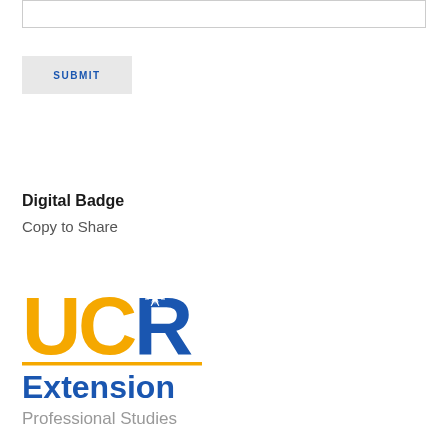[Figure (screenshot): Empty text input field with border]
SUBMIT
Digital Badge
Copy to Share
[Figure (logo): UCR Extension Professional Studies logo with gold U and C letters, blue R with starburst, gold underline, blue Extension text, and gray Professional Studies text]